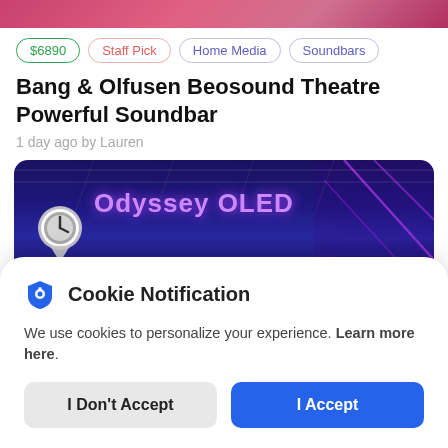[Figure (photo): Top decorative gradient bar in pink/rose tones]
$6890 · Staff Pick · Home Media · Soundbars
Bang & Olfusen Beosound Theatre Powerful Soundbar
1 day ago by Lauren
[Figure (photo): Dark blue/purple trade show or showroom photo with 'Odyssey OLED' text, clock/location pin icon overlay, and white Samsung-style logo partially visible at bottom]
Cookie Notification
We use cookies to personalize your experience. Learn more here.
I Don't Accept
I Accept